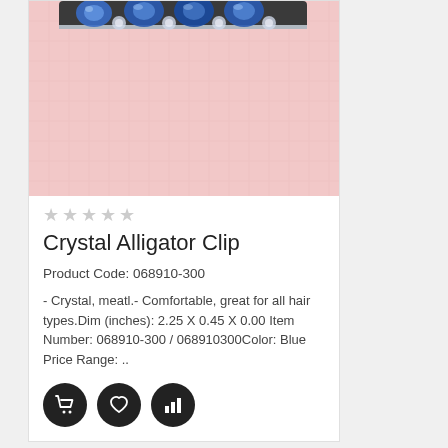[Figure (photo): Product photo of a Crystal Alligator Clip hair accessory with blue and clear crystals on a dark metal clip, displayed on a pink background.]
★★★★★
Crystal Alligator Clip
Product Code: 068910-300
- Crystal, meatl.- Comfortable, great for all hair types.Dim (inches): 2.25 X 0.45 X 0.00 Item Number: 068910-300 / 068910300Color: Blue Price Range: ..
[Figure (screenshot): Three circular black action icon buttons: shopping cart, heart (favorite), and bar chart (compare).]